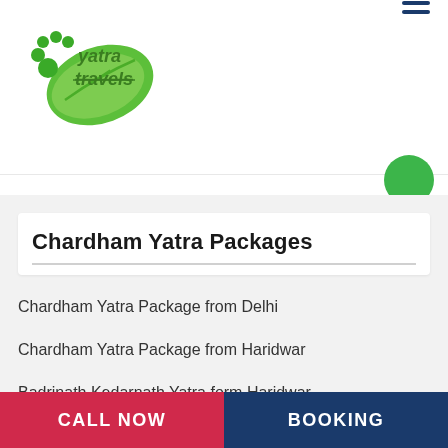yatra travels logo and navigation
Chardham Yatra Packages
Chardham Yatra Package from Delhi
Chardham Yatra Package from Haridwar
Badrinath Kedarnath Yatra form Haridwar
Badrinath Kedarnath Yatra form Delhi
CALL NOW  BOOKING